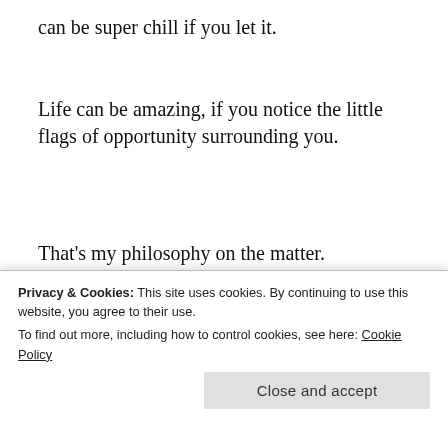can be super chill if you let it.
Life can be amazing, if you notice the little flags of opportunity surrounding you.
That’s my philosophy on the matter.
[Figure (other): Tumblr Ad-Free Browsing advertisement banner showing $39.99 a year or $4.99 a month pricing]
Thi...
Privacy & Cookies: This site uses cookies. By continuing to use this website, you agree to their use.
To find out more, including how to control cookies, see here: Cookie Policy
Close and accept
problem. I took advantage of the substitute teaching